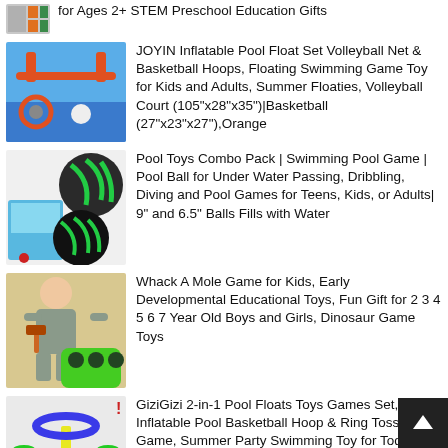for Ages 2+ STEM Preschool Education Gifts
JOYIN Inflatable Pool Float Set Volleyball Net & Basketball Hoops, Floating Swimming Game Toy for Kids and Adults, Summer Floaties, Volleyball Court (105"x28"x35")|Basketball (27"x23"x27"),Orange
Pool Toys Combo Pack | Swimming Pool Game | Pool Ball for Under Water Passing, Dribbling, Diving and Pool Games for Teens, Kids, or Adults| 9" and 6.5" Balls Fills with Water
Whack A Mole Game for Kids, Early Developmental Educational Toys, Fun Gift for 2 3 4 5 6 7 Year Old Boys and Girls, Dinosaur Game Toys
GiziGizi 2-in-1 Pool Floats Toys Games Set, Inflatable Pool Basketball Hoop & Ring Toss Game, Summer Party Swimming Toy for Toddler Kids Adults Family,